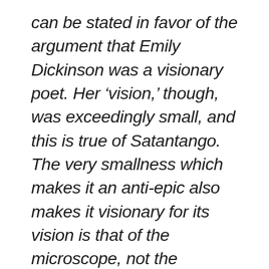can be stated in favor of the argument that Emily Dickinson was a visionary poet. Her ‘vision,’ though, was exceedingly small, and this is true of Satantango. The very smallness which makes it an anti-epic also makes it visionary for its vision is that of the microscope, not the telescope, where epics are writ so large. But large things often diffuse, whereas Satantango’s length does naught but clarify, even in its depths. And the use of macguffins acts almost as leukocytes to defend the film’s narrative from its own